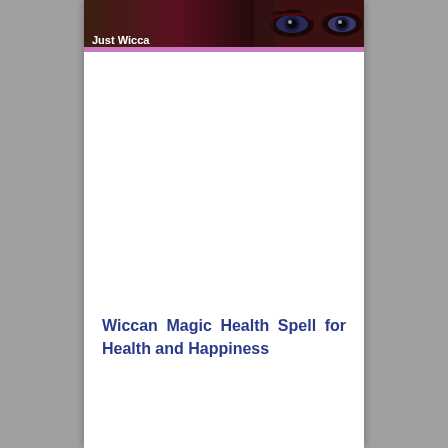Just Wicca
Wiccan Magic Health Spell for Health and Happiness